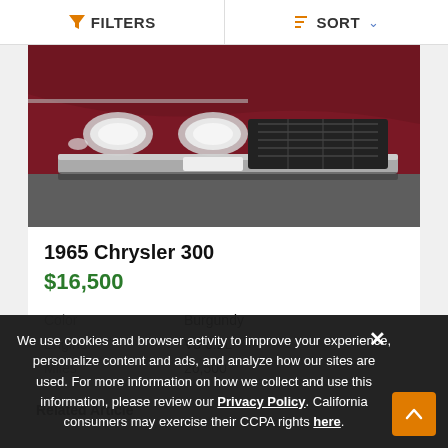FILTERS   SORT
[Figure (photo): Front end of a 1965 Chrysler 300 in burgundy/dark red color, showing the grille, headlights, and chrome bumper from a low angle on asphalt.]
1965 Chrysler 300
$16,500
| Color | Burgundy |
| Engine | V8 6.2L |
| Miles | 26,500 |
Related Article
We use cookies and browser activity to improve your experience, personalize content and ads, and analyze how our sites are used. For more information on how we collect and use this information, please review our Privacy Policy. California consumers may exercise their CCPA rights here.